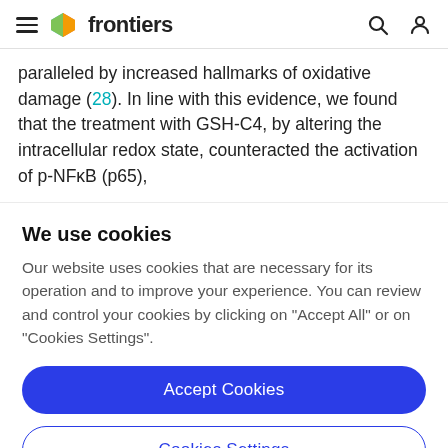frontiers
paralleled by increased hallmarks of oxidative damage (28). In line with this evidence, we found that the treatment with GSH-C4, by altering the intracellular redox state, counteracted the activation of p-NFkB (p65),
We use cookies
Our website uses cookies that are necessary for its operation and to improve your experience. You can review and control your cookies by clicking on "Accept All" or on "Cookies Settings".
Accept Cookies
Cookies Settings